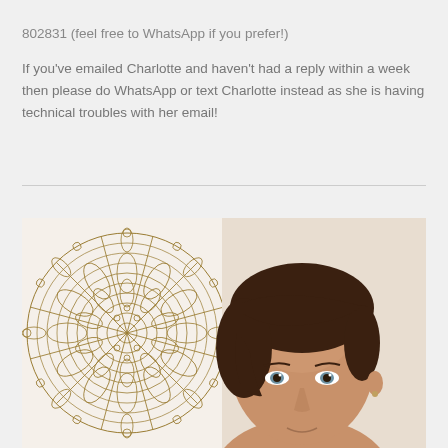802831 (feel free to WhatsApp if you prefer!)
If you've emailed Charlotte and haven't had a reply within a week then please do WhatsApp or text Charlotte instead as she is having technical troubles with her email!
[Figure (photo): A woman with short dark brown hair photographed against a background featuring a mandala-style decorative illustration with floral and circular patterns in brown ink on white/cream paper. The woman faces forward slightly, visible from approximately shoulders up.]